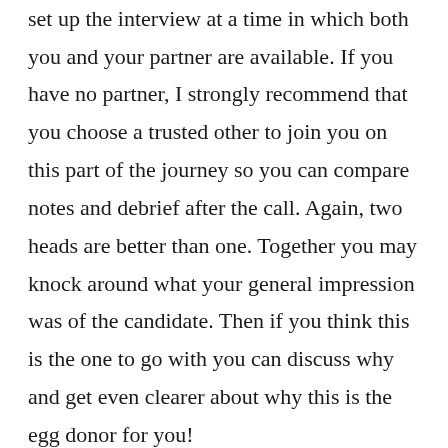finally to play the egg donation attempt to set up the interview at a time in which both you and your partner are available. If you have no partner, I strongly recommend that you choose a trusted other to join you on this part of the journey so you can compare notes and debrief after the call. Again, two heads are better than one. Together you may knock around what your general impression was of the candidate. Then if you think this is the one to go with you can discuss why and get even clearer about why this is the egg donor for you!